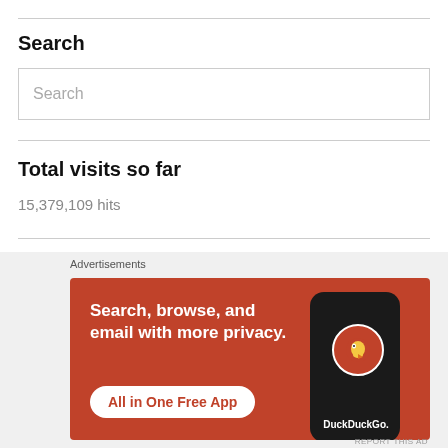Search
[Figure (screenshot): Search input box with placeholder text 'Search']
Total visits so far
15,379,109 hits
Top Posts
[Figure (screenshot): DuckDuckGo advertisement banner: 'Search, browse, and email with more privacy. All in One Free App' with DuckDuckGo logo on a phone mockup against orange/red background]